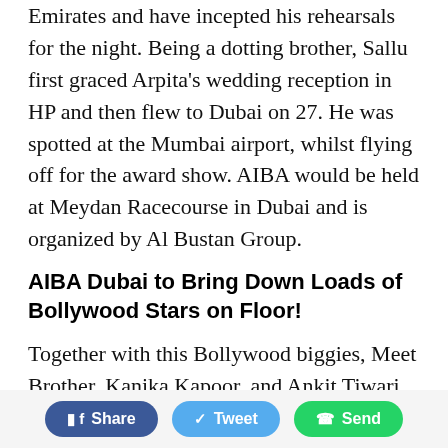Emirates and have incepted his rehearsals for the night. Being a dotting brother, Sallu first graced Arpita's wedding reception in HP and then flew to Dubai on 27. He was spotted at the Mumbai airport, whilst flying off for the award show. AIBA would be held at Meydan Racecourse in Dubai and is organized by Al Bustan Group.
AIBA Dubai to Bring Down Loads of Bollywood Stars on Floor!
Together with this Bollywood biggies, Meet Brother, Kanika Kapoor, and Ankit Tiwari would also be present at the event. Varun Dhawan and Priyanka Chopra are said to be promoting their forthcoming film...
Share  Tweet  Send